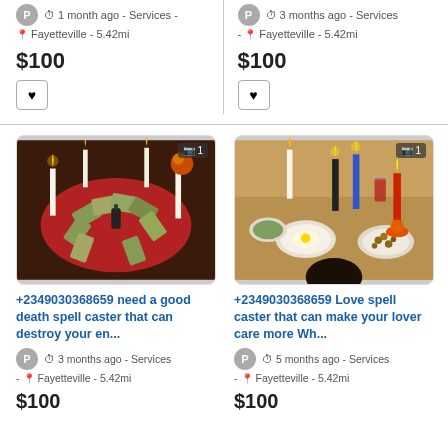1 month ago - Services - Fayetteville - 5.42mi
$100
3 months ago - Services - Fayetteville - 5.42mi
$100
[Figure (photo): Ritual setup with candles arranged around money/cards on a red cloth with a bottle in the center]
+2349030368659 need a good death spell caster that can destroy your en...
3 months ago - Services - Fayetteville - 5.42mi
$100
[Figure (photo): Ritual setup with colorful candles, plates with items, coins on a table]
+2349030368659 Love spell caster that can make your lover care more Wh...
5 months ago - Services - Fayetteville - 5.42mi
$100